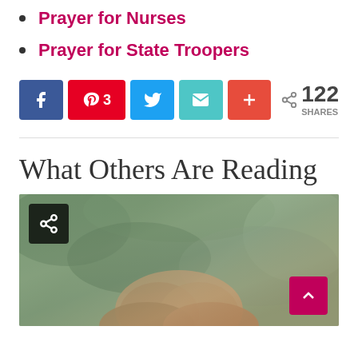Prayer for Nurses
Prayer for State Troopers
[Figure (infographic): Social share bar with Facebook, Pinterest (3), Twitter, Email, and More (+) buttons, showing 122 SHARES]
What Others Are Reading
[Figure (photo): Photo of person with hands clasped in prayer, background of green foliage, with share icon overlay in top-left and back-to-top arrow button in bottom-right]